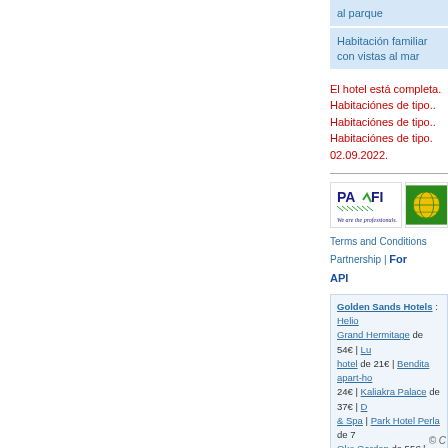| al parque |
| Habitación familiar con vistas al mar |
El hotel está completa. Habitaciónes de tipo.. Habitaciónes de tipo.. Habitaciónes de tipo. 02.09.2022.
[Figure (logo): PROFI logo - We are the professionals...]
[Figure (logo): Globus/world logo green and yellow]
Terms and Conditions | Partnership | For API
Golden Sands Hotels : Helio... Grand Hermitage de 54€ | Lu... hotel de 21€ | Bendita apart-ho... 24€ | Kaliakra Palace de 37€ | ... & Spa | Park Hotel Perla de 7... Oko Garden de 55€ | Belle...
© C...